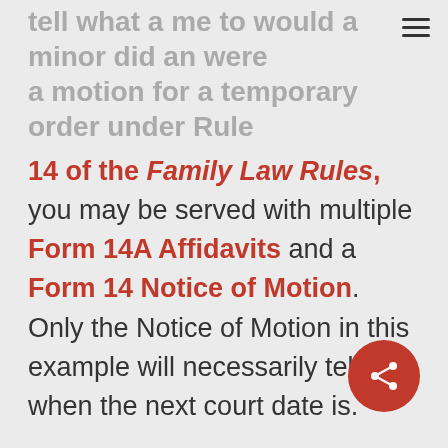tell what a me to would a minor did an were a motion for a temporary order under Rule 14 of the Family Law Rules, you may be served with multiple Form 14A Affidavits and a Form 14 Notice of Motion. Only the Notice of Motion in this example will necessarily tell you when the next court date is.
[Figure (other): Share button — red circular button with share/network icon]